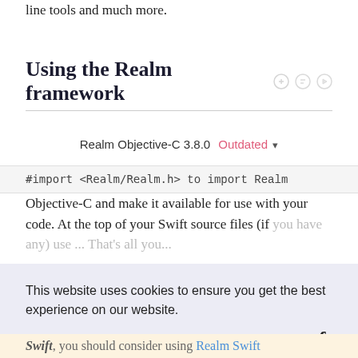line tools and much more.
Using the Realm framework
Realm Objective-C 3.8.0  Outdated
#import <Realm/Realm.h> to import Realm Objective-C and make it available for use with your code. At the top of your Swift source files (if you have any) use ...  That's all you...
This website uses cookies to ensure you get the best experience on our website.
Learn more
Got it!
Swift, you should consider using Realm Swift